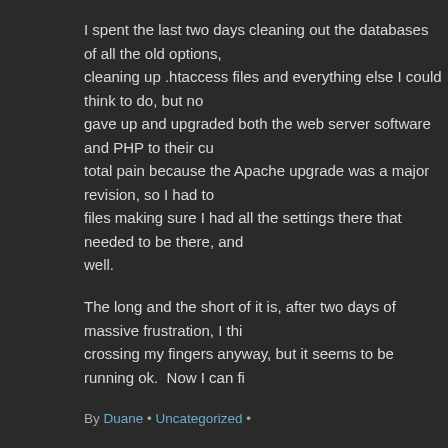I spent the last two days cleaning out the databases of all the old options, cleaning up .htaccess files and everything else I could think to do, but no gave up and upgraded both the web server software and PHP to their cu total pain because the Apache upgrade was a major revision, so I had to files making sure I had all the settings there that needed to be there, and well.
The long and the short of it is, after two days of massive frustration, I thi crossing my fingers anyway, but it seems to be running ok.  Now I can fi
By Duane • Uncategorized •
Leave a Reply
You must be logged in to post a comment.